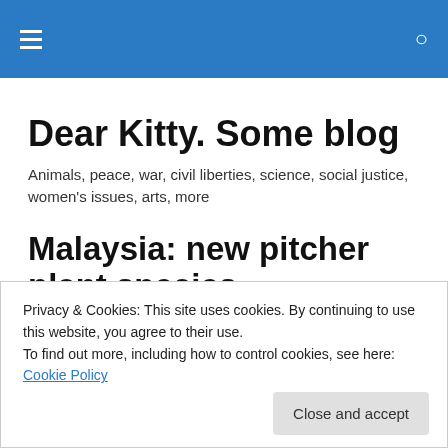Dear Kitty. Some blog — navigation bar with menu and search icons
Dear Kitty. Some blog
Animals, peace, war, civil liberties, science, social justice, women's issues, arts, more
Malaysia: new pitcher plant species discovered
Privacy & Cookies: This site uses cookies. By continuing to use this website, you agree to their use.
To find out more, including how to control cookies, see here: Cookie Policy